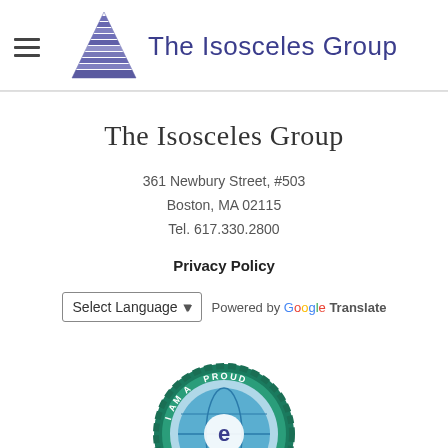[Figure (logo): The Isosceles Group logo: purple/blue striped triangle icon with text 'The Isosceles Group' in dark blue, with hamburger menu icon on left]
The Isosceles Group
361 Newbury Street, #503
Boston, MA 02115
Tel. 617.330.2800
Privacy Policy
[Figure (other): Select Language dropdown with chevron and 'Powered by Google Translate' text]
[Figure (logo): Circular badge/seal in teal/green with globe and 'I AM A PROUD' text around edge, partially visible at bottom of page]